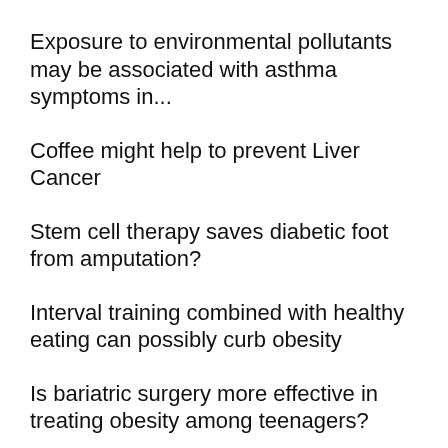Exposure to environmental pollutants may be associated with asthma symptoms in...
Coffee might help to prevent Liver Cancer
Stem cell therapy saves diabetic foot from amputation?
Interval training combined with healthy eating can possibly curb obesity
Is bariatric surgery more effective in treating obesity among teenagers?
Infants exposed to household smoke